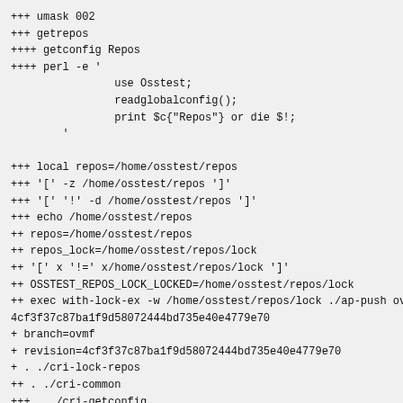+++ umask 002
+++ getrepos
++++ getconfig Repos
++++ perl -e '
                use Osstest;
                readglobalconfig();
                print $c{"Repos"} or die $!;
        '

+++ local repos=/home/osstest/repos
+++ '[' -z /home/osstest/repos ']'
+++ '[' '!' -d /home/osstest/repos ']'
+++ echo /home/osstest/repos
++ repos=/home/osstest/repos
++ repos_lock=/home/osstest/repos/lock
++ '[' x '!=' x/home/osstest/repos/lock ']'
++ OSSTEST_REPOS_LOCK_LOCKED=/home/osstest/repos/lock
++ exec with-lock-ex -w /home/osstest/repos/lock ./ap-push ovm
4cf3f37c87ba1f9d58072444bd735e40e4779e70
+ branch=ovmf
+ revision=4cf3f37c87ba1f9d58072444bd735e40e4779e70
+ . ./cri-lock-repos
++ . ./cri-common
+++ . ./cri-getconfig
+++ umask 002
+++ getrepos